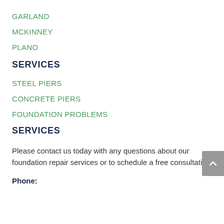GARLAND
MCKINNEY
PLANO
SERVICES
STEEL PIERS
CONCRETE PIERS
FOUNDATION PROBLEMS
SERVICES
Please contact us today with any questions about our foundation repair services or to schedule a free consultation.
Phone: